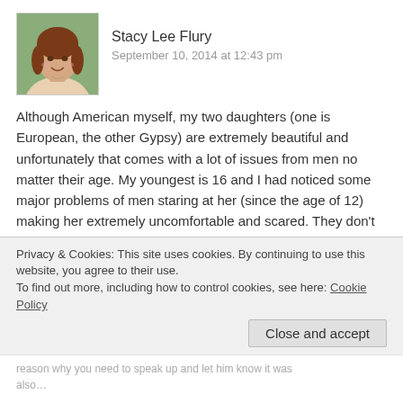[Figure (photo): Profile photo of Stacy Lee Flury — a woman with reddish-brown hair, smiling, outdoors]
Stacy Lee Flury
September 10, 2014 at 12:43 pm
Although American myself, my two daughters (one is European, the other Gypsy) are extremely beautiful and unfortunately that comes with a lot of issues from men no matter their age. My youngest is 16 and I had noticed some major problems of men staring at her (since the age of 12) making her extremely uncomfortable and scared. They don't even have to be men from other countries. In one situation in the mall, several men passed by with one making a comment to my daughter right in front of me. So, I let loose and told him how inappropriate he was and so much more. He got scared and his friend was trying to pull him away from me
Privacy & Cookies: This site uses cookies. By continuing to use this website, you agree to their use.
To find out more, including how to control cookies, see here: Cookie Policy
Close and accept
reason why you need to speak up and let him know it was also…